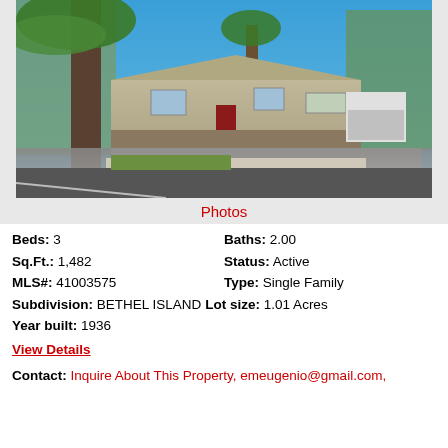[Figure (photo): Exterior photo of a single-family home with palm trees, blue sky, driveway, and garage. Ranch-style house with brick retaining wall.]
Photos
Beds: 3    Baths: 2.00
Sq.Ft.: 1,482    Status: Active
MLS#: 41003575    Type: Single Family
Subdivision: BETHEL ISLAND  Lot size: 1.01 Acres
Year built: 1936
View Details
Contact: Inquire About This Property, emeugenio@gmail.com,